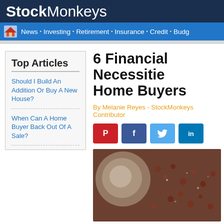StockMonkeys
News • Investing • Retirement • Insurance • Credit • Budg
6 Financial Necessities for Home Buyers
By Melanie Reyes - StockMonkeys Contributor
Top Articles
Should I Build An Addition Or Buy A New House?
When Can A Home Buyer Back Out Of A Sale?
[Figure (photo): Close-up macro photo of coins or metallic textured surface, blurred bokeh background]